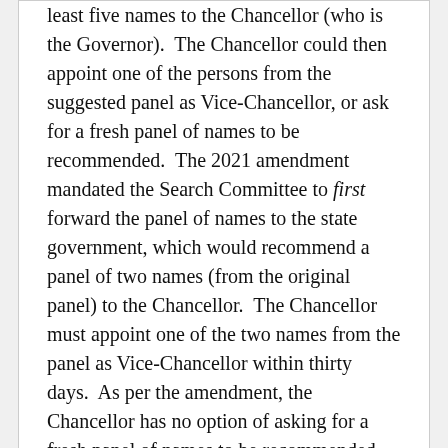least five names to the Chancellor (who is the Governor). The Chancellor could then appoint one of the persons from the suggested panel as Vice-Chancellor, or ask for a fresh panel of names to be recommended. The 2021 amendment mandated the Search Committee to first forward the panel of names to the state government, which would recommend a panel of two names (from the original panel) to the Chancellor. The Chancellor must appoint one of the two names from the panel as Vice-Chancellor within thirty days. As per the amendment, the Chancellor has no option of asking for a fresh panel of names to be recommended.
Recent Posts
Lok Sabha passes a Bill to regulate doping in sports